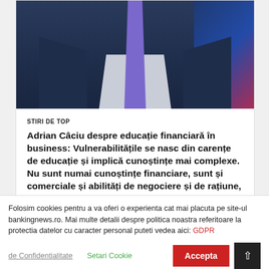[Figure (photo): Photo of Adrian Câciu in a dark navy suit with purple tie, blue background with red accent on right side]
STIRI DE TOP
Adrian Câciu despre educație financiară în business: Vulnerabilitățile se nasc din carențe de educație și implică cunoștințe mai complexe. Nu sunt numai cunoștințe financiare, sunt și comerciale și abilități de negociere și de rațiune, de așezare a unui business
Adrian Câciu, MF Societatea românească, nu numai cea specializată, ar trebui
Folosim cookies pentru a va oferi o experienta cat mai placuta pe site-ul bankingnews.ro. Mai multe detalii despre politica noastra referitoare la protectia datelor cu caracter personal puteti vedea aici: GDPR
de Confidentialitate   Setari Cookie   Accepta